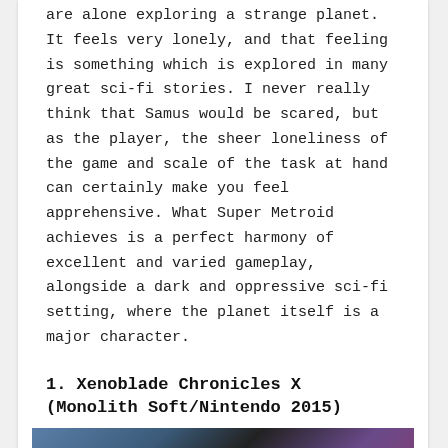are alone exploring a strange planet. It feels very lonely, and that feeling is something which is explored in many great sci-fi stories. I never really think that Samus would be scared, but as the player, the sheer loneliness of the game and scale of the task at hand can certainly make you feel apprehensive. What Super Metroid achieves is a perfect harmony of excellent and varied gameplay, alongside a dark and oppressive sci-fi setting, where the planet itself is a major character.
1. Xenoblade Chronicles X (Monolith Soft/Nintendo 2015)
[Figure (photo): Screenshot or image from Xenoblade Chronicles X showing game visuals with blue and purple tones]